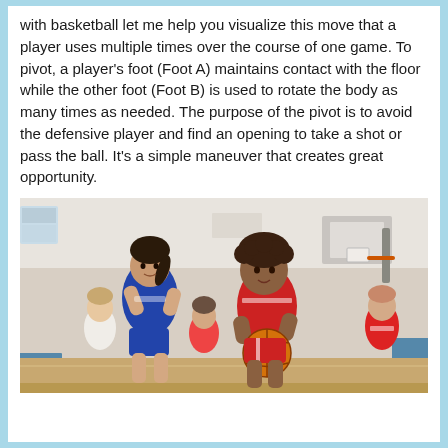with basketball let me help you visualize this move that a player uses multiple times over the course of one game. To pivot, a player's foot (Foot A) maintains contact with the floor while the other foot (Foot B) is used to rotate the body as many times as needed. The purpose of the pivot is to avoid the defensive player and find an opening to take a shot or pass the ball. It's a simple maneuver that creates great opportunity.
[Figure (photo): Young girls playing basketball in an indoor gymnasium. A girl in a blue and white jersey is defending against a girl in a red and white jersey who is holding a basketball. Other players are visible in the background near a basketball hoop.]